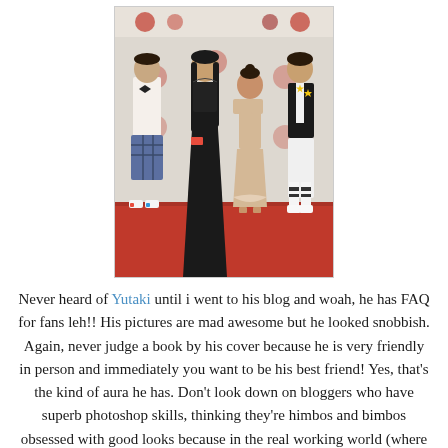[Figure (photo): Four young people posing on a red carpet at an event. From left: a tall young man in a white shirt with bow tie and plaid shorts with colorful sneakers; a young woman in a black strapless gown with long black hair; a shorter young woman in a beige/gold dress; and a tall young man in a black blazer with white pants and tall white socks with a yellow star pin.]
Never heard of Yutaki until i went to his blog and woah, he has FAQ for fans leh!! His pictures are mad awesome but he looked snobbish. Again, never judge a book by his cover because he is very friendly in person and immediately you want to be his best friend! Yes, that's the kind of aura he has. Don't look down on bloggers who have superb photoshop skills, thinking they're himbos and bimbos obsessed with good looks because in the real working world (where i come